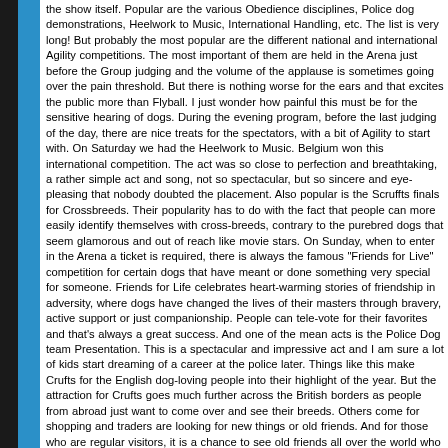the show itself. Popular are the various Obedience disciplines, Police dog demonstrations, Heelwork to Music, International Handling, etc. The list is very long! But probably the most popular are the different national and international Agility competitions. The most important of them are held in the Arena just before the Group judging and the volume of the applause is sometimes going over the pain threshold. But there is nothing worse for the ears and that excites the public more than Flyball. I just wonder how painful this must be for the sensitive hearing of dogs. During the evening program, before the last judging of the day, there are nice treats for the spectators, with a bit of Agility to start with. On Saturday we had the Heelwork to Music. Belgium won this international competition. The act was so close to perfection and breathtaking, a rather simple act and song, not so spectacular, but so sincere and eye-pleasing that nobody doubted the placement. Also popular is the Scruffts finals for Crossbreeds. Their popularity has to do with the fact that people can more easily identify themselves with cross-breeds, contrary to the purebred dogs that seem glamorous and out of reach like movie stars. On Sunday, when to enter in the Arena a ticket is required, there is always the famous "Friends for Live" competition for certain dogs that have meant or done something very special for someone. Friends for Life celebrates heart-warming stories of friendship in adversity, where dogs have changed the lives of their masters through bravery, active support or just companionship. People can tele-vote for their favorites and that's always a great success. And one of the mean acts is the Police Dog team Presentation. This is a spectacular and impressive act and I am sure a lot of kids start dreaming of a career at the police later. Things like this make Crufts for the English dog-loving people into their highlight of the year. But the attraction for Crufts goes much further across the British borders as people from abroad just want to come over and see their breeds. Others come for shopping and traders are looking for new things or old friends. And for those who are regular visitors, it is a chance to see old friends all over the world who share the passion for dogs. Crufts is a